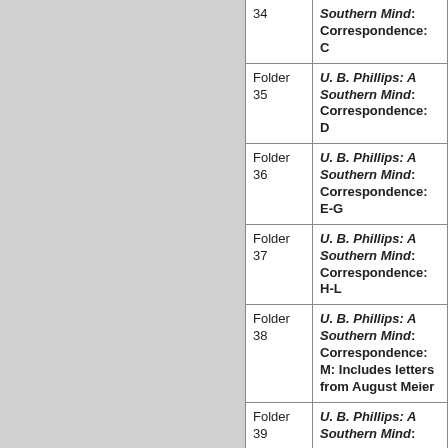| Folder | Title |
| --- | --- |
| 34 | U. B. Phillips: A Southern Mind: Correspondence: C |
| Folder 35 | U. B. Phillips: A Southern Mind: Correspondence: D |
| Folder 36 | U. B. Phillips: A Southern Mind: Correspondence: E-G |
| Folder 37 | U. B. Phillips: A Southern Mind: Correspondence: H-L |
| Folder 38 | U. B. Phillips: A Southern Mind: Correspondence: M: Includes letters from August Meier |
| Folder 39 | U. B. Phillips: A Southern Mind: |